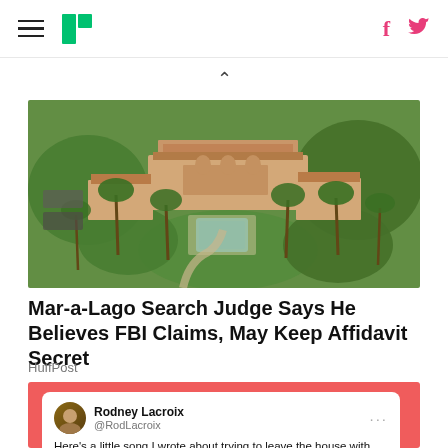HuffPost navigation header with hamburger menu, logo, Facebook and Twitter icons
[Figure (photo): Aerial view of Mar-a-Lago estate in Palm Beach, Florida, showing the main building with terracotta roofs, a pool, and surrounding palm trees and greenery]
Mar-a-Lago Search Judge Says He Believes FBI Claims, May Keep Affidavit Secret
HuffPost
[Figure (screenshot): Tweet from Rodney Lacroix (@RodLacroix): Here's a little song I wrote about trying to leave the house with the kids in the morning it's called "OHMYGOD WHY AREN'T YOUR SHOES ON YET" and]